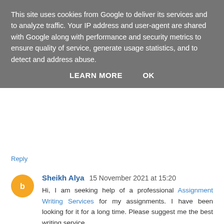This site uses cookies from Google to deliver its services and to analyze traffic. Your IP address and user-agent are shared with Google along with performance and security metrics to ensure quality of service, generate usage statistics, and to detect and address abuse.
LEARN MORE   OK
Reply
Sheikh Alya  15 November 2021 at 15:20
Hi, I am seeking help of a professional Assignment Writing Services for my assignments. I have been looking for it for a long time. Please suggest me the best writing service.
Reply
Gaurav  19 November 2021 at 08:59
shri ganesh ji ke 12 naam arth sahit pechan. ganapati naam ko, arth sahit pahachaana. sukh samriddhi jnaan dhan, buddhi kare pradaana.